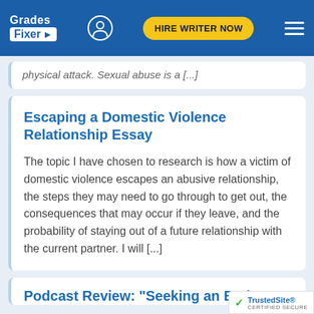Grades Fixer | HIRE WRITER NOW
physical attack. Sexual abuse is a [...]
Escaping a Domestic Violence Relationship Essay
The topic I have chosen to research is how a victim of domestic violence escapes an abusive relationship, the steps they may need to go through to get out, the consequences that may occur if they leave, and the probability of staying out of a future relationship with the current partner. I will [...]
Podcast Review: "Seeking an End t